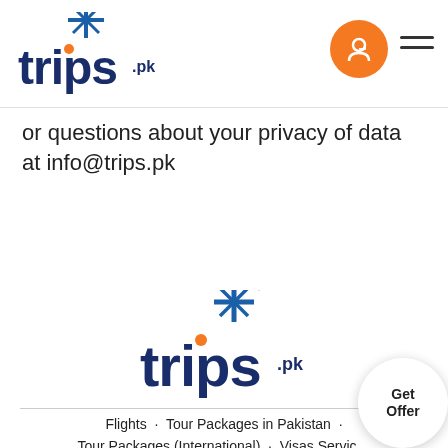[Figure (logo): trips.pk logo — dark navy 'trips' text with orange dot on 'i', '.pk' superscript, blue star/snowflake above]
or questions about your privacy of data at info@trips.pk
[Figure (logo): trips.pk logo — centered footer version, dark navy 'trips' text with orange dot on 'i', '.pk' superscript, blue star above]
Flights · Tour Packages in Pakistan ·
Tour Packages (International) · Visas Servic…